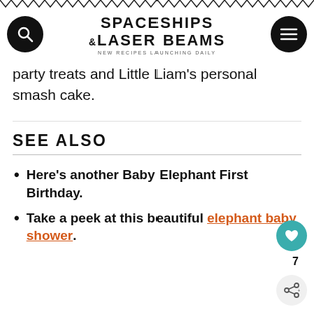SPACESHIPS & LASER BEAMS — NEW RECIPES LAUNCHING DAILY
party treats and Little Liam's personal smash cake.
SEE ALSO
Here's another Baby Elephant First Birthday.
Take a peek at this beautiful elephant baby shower.